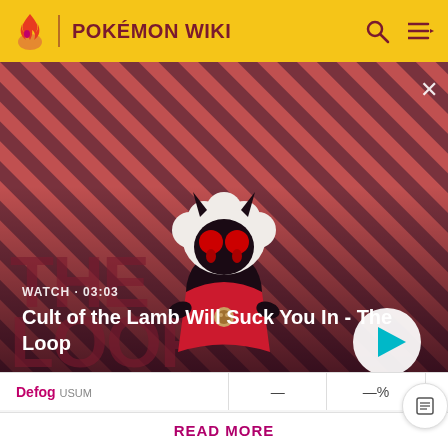POKÉMON WIKI
[Figure (screenshot): Promotional video thumbnail showing a character from Cult of the Lamb game on a dark red diagonal striped background. Text overlay reads: WATCH · 03:03 — Cult of the Lamb Will Suck You In - The Loop]
| Move | — | —% | 15 | Type |
| --- | --- | --- | --- | --- |
| Defog USUM | — | —% | 15 | Flying |
Don't like the ads? Then create an account! Users with
READ MORE